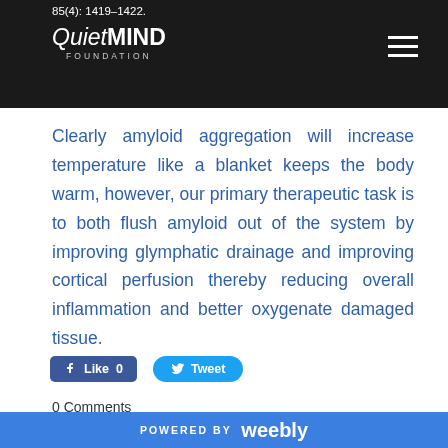85(4): 1419–1422. QuietMIND FOUNDATION
Clearly amyloid aggregation will increase temperature like a blanket keeps the body warm, however, our primary therapeutic task is to both flush amyloid out of the system by improving glymphatic drainage and improving cortical perfusion thereby reducing overall inflammation and better oxygenate damaged tissue.
[Figure (other): Facebook Like button showing 0 likes, and a Twitter Tweet button]
0 Comments
Photobiomodulation Supports Glymphatic System
POWERED BY weebly